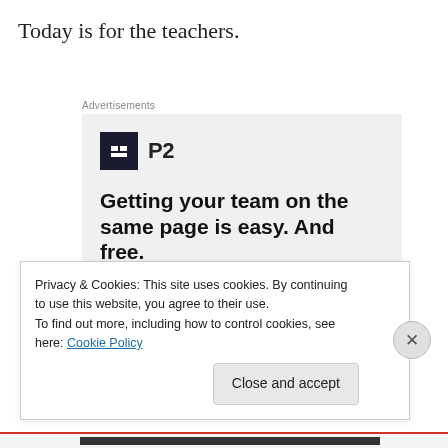Today is for the teachers.
Advertisements
[Figure (illustration): Advertisement for P2 platform showing logo, bold headline 'Getting your team on the same page is easy. And free.' with circular avatar photos of people at the bottom]
Privacy & Cookies: This site uses cookies. By continuing to use this website, you agree to their use.
To find out more, including how to control cookies, see here: Cookie Policy